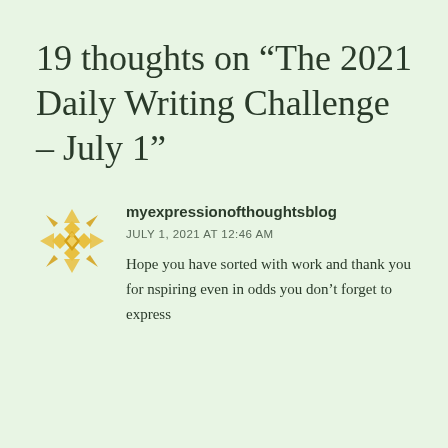19 thoughts on “The 2021 Daily Writing Challenge – July 1”
[Figure (illustration): Golden geometric mandala/snowflake pattern avatar icon]
myexpressionofthoughtsblog
JULY 1, 2021 AT 12:46 AM
Hope you have sorted with work and thank you for nspiring even in odds you don’t forget to express